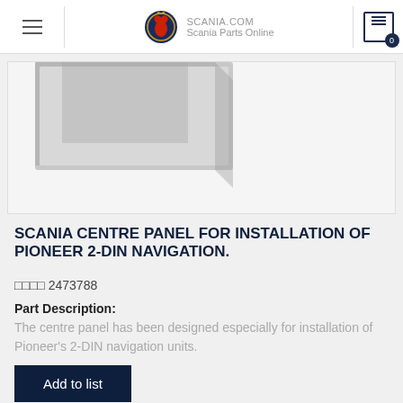SCANIA.COM Scania Parts Online
[Figure (photo): Partial product photo showing corner of a centre panel installation bracket against a light background]
SCANIA CENTRE PANEL FOR INSTALLATION OF PIONEER 2-DIN NAVIGATION.
□□□□ 2473788
Part Description:
The centre panel has been designed especially for installation of Pioneer's 2-DIN navigation units.
Add to list